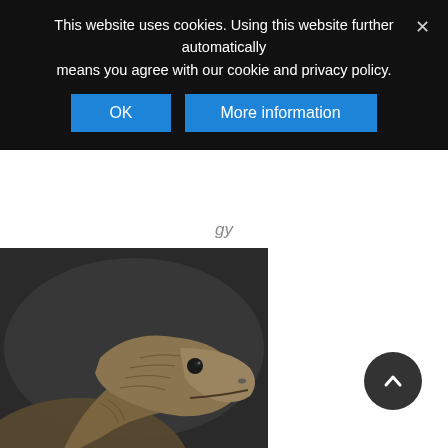This website uses cookies. Using this website further automatically means you agree with our cookie and privacy policy.
OK
More information
gy
[Figure (photo): Close-up photo of a Komodo dragon head and neck, with dark blurred background]
Meeting the Saurians – The Dragons of Komodo
[Figure (photo): Volcanic mountain at sunset/sunrise with clouds and eruption smoke]